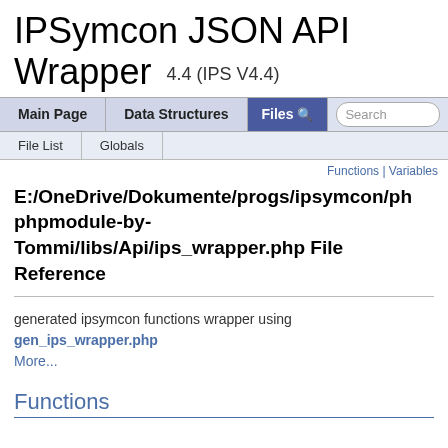IPSymcon JSON API Wrapper 4.4 (IPS V4.4)
[Figure (screenshot): Navigation bar with tabs: Main Page, Data Structures, Files (active/highlighted), and a search box]
[Figure (screenshot): Sub-navigation bar with File List and Globals tabs]
Functions | Variables
E:/OneDrive/Dokumente/progs/ipsymcon/phpmodule-by-Tommi/libs/Api/ips_wrapper.php File Reference
generated ipsymcon functions wrapper using gen_ips_wrapper.php
More...
Functions